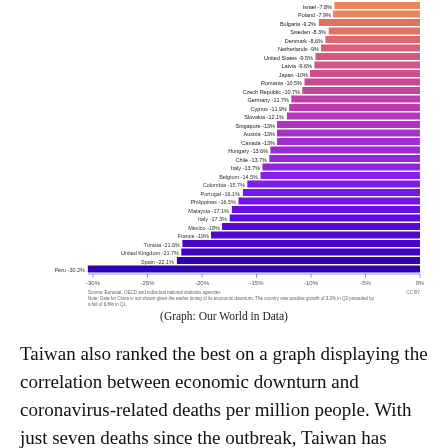[Figure (bar-chart): GDP growth Q2 2020 by country]
(Graph: Our World in Data)
Taiwan also ranked the best on a graph displaying the correlation between economic downturn and coronavirus-related deaths per million people. With just seven deaths since the outbreak, Taiwan has recorded 0.29 deaths per million residents. However, low death rate doesn't necessarily result in better GDP, as the likes of Malaysia (3.96 deaths per million)